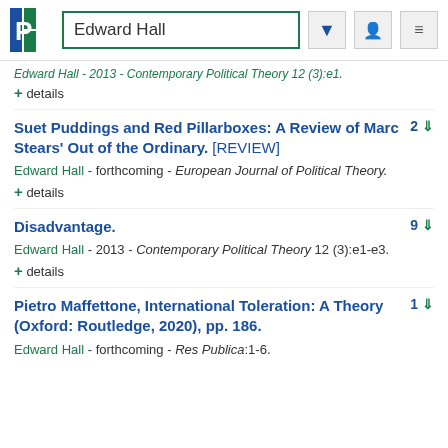Edward Hall
Edward Hall - 2013 - Contemporary Political Theory 12 (3):e1.
+ details
Suet Puddings and Red Pillarboxes: A Review of Marc Stears' Out of the Ordinary. [REVIEW]
Edward Hall - forthcoming - European Journal of Political Theory.
+ details
Disadvantage.
Edward Hall - 2013 - Contemporary Political Theory 12 (3):e1-e3.
+ details
Pietro Maffettone, International Toleration: A Theory (Oxford: Routledge, 2020), pp. 186.
Edward Hall - forthcoming - Res Publica:1-6.